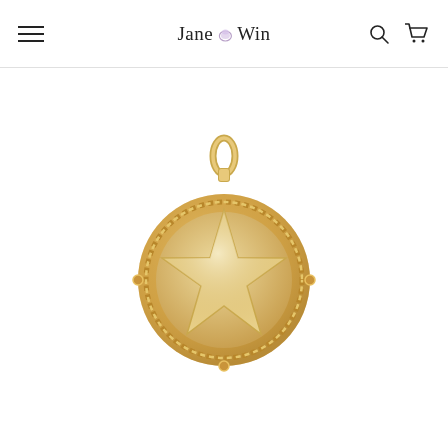Jane Win
[Figure (photo): Gold coin pendant necklace with a raised five-pointed star design in the center, surrounded by a rope-textured border, with a bail at the top for attaching to a chain. The pendant has a warm yellow gold finish.]